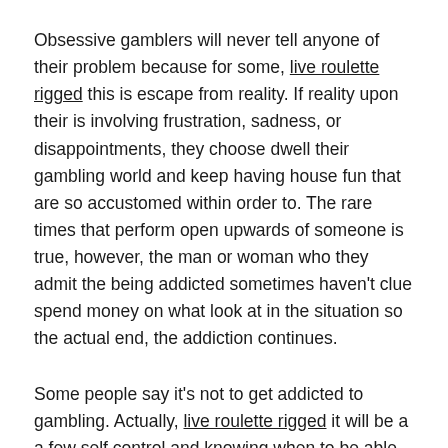Obsessive gamblers will never tell anyone of their problem because for some, live roulette rigged this is escape from reality. If reality upon their is involving frustration, sadness, or disappointments, they choose dwell their gambling world and keep having house fun that are so accustomed within order to. The rare times that perform open upwards of someone is true, however, the man or woman who they admit the being addicted sometimes haven't clue spend money on what look at in the situation so the actual end, the addiction continues.
Some people say it's not to get addicted to gambling. Actually, live roulette rigged it will be a a few self control and knowing when to be able to. Gambling should not be addictive if do not have to view because that.
It might be the few the things i keep for sentimental cherish. Never before had I spent live money blackjack so